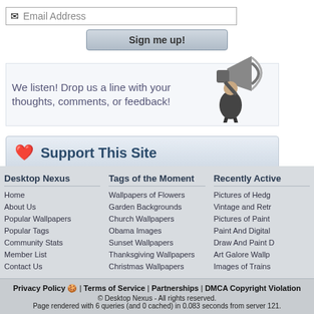[Figure (screenshot): Email address input field with envelope icon and placeholder text 'Email Address']
[Figure (screenshot): Sign me up! button with grey gradient styling]
We listen! Drop us a line with your thoughts, comments, or feedback!
[Figure (illustration): Black and white illustration of a man speaking through a megaphone]
[Figure (screenshot): Support This Site button with pink heart icon]
Desktop Nexus
Home
About Us
Popular Wallpapers
Popular Tags
Community Stats
Member List
Contact Us
Tags of the Moment
Wallpapers of Flowers
Garden Backgrounds
Church Wallpapers
Obama Images
Sunset Wallpapers
Thanksgiving Wallpapers
Christmas Wallpapers
Recently Active
Pictures of Hedg
Vintage and Retr
Pictures of Paint
Paint And Digital
Draw And Paint D
Art Galore Wallp
Images of Trains
Privacy Policy 🍪 | Terms of Service | Partnerships | DMCA Copyright Violation
© Desktop Nexus - All rights reserved.
Page rendered with 6 queries (and 0 cached) in 0.083 seconds from server 121.